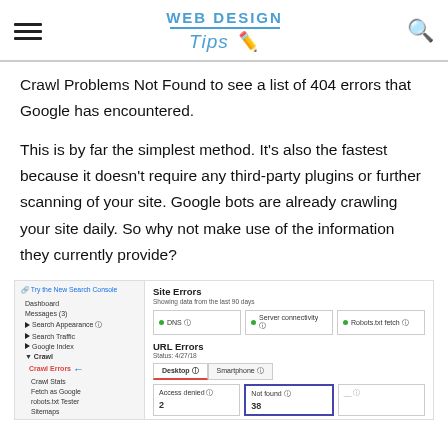Web Design Tips
Crawl Problems Not Found to see a list of 404 errors that Google has encountered.
This is by far the simplest method. It’s also the fastest because it doesn’t require any third-party plugins or further scanning of your site. Google bots are already crawling your site daily. So why not make use of the information they currently provide?
[Figure (screenshot): Google Search Console screenshot showing Site Errors section with DNS, Server connectivity, Robots.txt fetch cells all green, and URL Errors section with Desktop and Smartphone tabs, showing Access denied: 2, Not found: 38 highlighted in blue border. Crawl Errors is selected in the left sidebar with a red arrow pointing to it.]